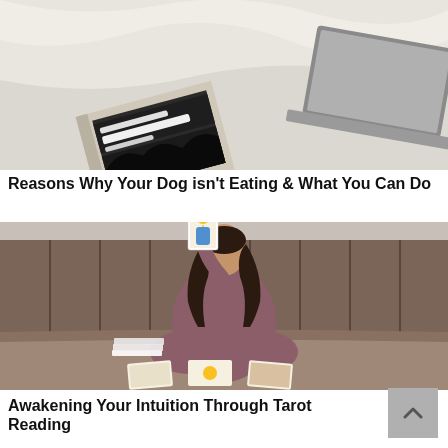[Figure (photo): Top-down view of an open book and a laptop on a white bedsheet]
Reasons Why Your Dog isn't Eating & What You Can Do
[Figure (photo): A woman in a mauve outfit sitting cross-legged on a bed holding up a tarot card in front of her face, with tarot cards spread in front of her and a wooden slat wall behind her]
Awakening Your Intuition Through Tarot Reading